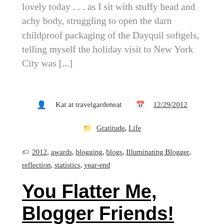lovely today . . . as I sit with stuffy head and achy body, struggling to open the darn childproof packaging of the Dayquil softgels, telling myself the holiday visit to New York City was [...]
Kat at travelgardeneat  12/29/2012
Gratitude, Life
2012, awards, blogging, blogs, Illuminating Blogger, reflection, statistics, year-end
You Flatter Me, Blogger Friends!
Recently, I read a blog post by Peter Bregman, one of my favorite business-related bloggers